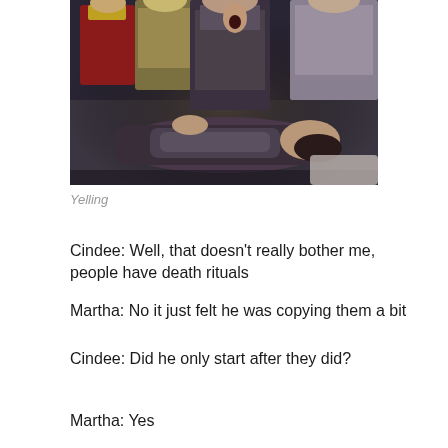[Figure (photo): Scene from Star Trek: The Next Generation showing Klingon characters, one lying on the floor while others stand around, all in warrior armor/uniforms. A figure in a red Starfleet uniform is visible in the background.]
Yelling
Cindee: Well, that doesn't really bother me, people have death rituals
Martha: No it just felt he was copying them a bit
Cindee: Did he only start after they did?
Martha: Yes